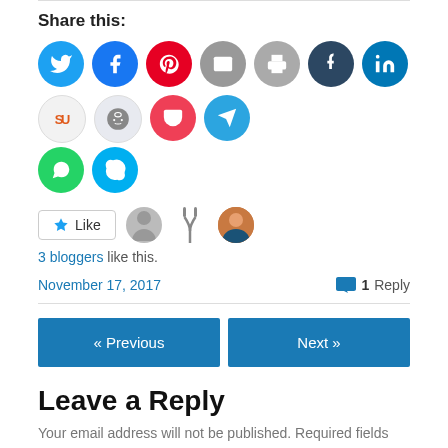Share this:
[Figure (infographic): Row of social media sharing icon buttons: Twitter (blue), Facebook (blue), Pinterest (red), Email (gray), Print (gray), Tumblr (dark blue), LinkedIn (teal), StumbleUpon (light orange on white), Reddit (gray alien on light), Pocket (red), Telegram (blue). Second row: WhatsApp (green), Skype (light blue).]
[Figure (infographic): Like button with star icon, followed by three blogger avatar icons (gray silhouette, fork/utensil icon, photo of woman).]
3 bloggers like this.
November 17, 2017
1 Reply
« Previous
Next »
Leave a Reply
Your email address will not be published. Required fields